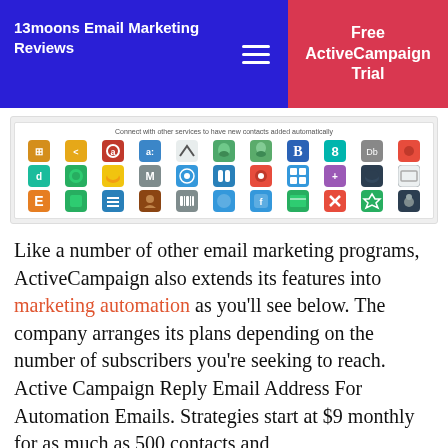13moons Email Marketing Reviews | Free ActiveCampaign Trial
[Figure (screenshot): Screenshot of ActiveCampaign integrations page showing a grid of service logos with the caption 'Connect with other services to have new contacts added automatically']
Like a number of other email marketing programs, ActiveCampaign also extends its features into marketing automation as you'll see below. The company arranges its plans depending on the number of subscribers you're seeking to reach. Active Campaign Reply Email Address For Automation Emails. Strategies start at $9 monthly for as much as 500 contacts and